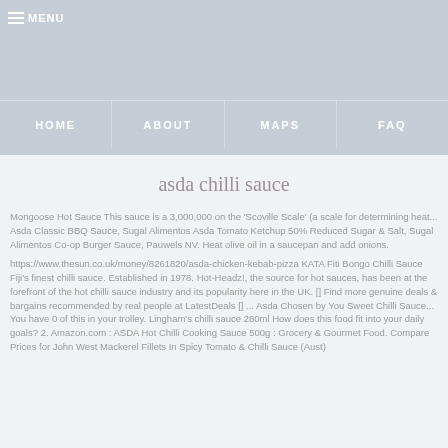MENU | HOME | ABOUT | MAPS | FAQ
asda chilli sauce
Mongoose Hot Sauce This sauce is a 3,000,000 on the 'Scoville Scale' (a scale for determining heat... Asda Classic BBQ Sauce, Sugal Alimentos Asda Tomato Ketchup 50% Reduced Sugar & Salt, Sugal Alimentos Co-op Burger Sauce, Pauwels NV. Heat olive oil in a saucepan and add onions. https://www.thesun.co.uk/money/8261820/asda-chicken-kebab-pizza KATA Fiti Bongo Chilli Sauce Fiji's finest chilli sauce. Established in 1978. Hot-Headz!, the source for hot sauces, has been at the forefront of the hot chilli sauce industry and its popularity here in the UK. [] Find more genuine deals & bargains recommended by real people at LatestDeals [] ... Asda Chosen by You Sweet Chilli Sauce... You have 0 of this in your trolley. Lingham's chilli sauce 280ml How does this food fit into your daily goals? 2. Amazon.com : ASDA Hot Chilli Cooking Sauce 500g : Grocery & Gourmet Food. Compare Prices for John West Mackerel Fillets In Spicy Tomato & Chilli Sauce (Aust)